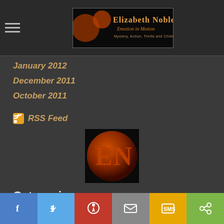Elizabeth Noble – Emotion in Motion – Mystery, Action, Thrills and Chills
January 2012
December 2011
October 2011
RSS Feed
[Figure (logo): Elizabeth Noble EN logo – red/orange moon with letters EN on it, dark background]
Categories
All
Astronomy Stuff
Blog Hop
Social share bar: Facebook, Twitter, Pinterest, Email, SMS, Share